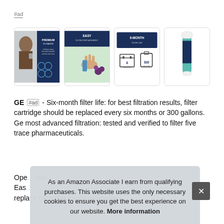#ad
[Figure (screenshot): Four product images in a horizontal strip: (1) Premium Filtration - man drinking water with icons; (2) Easy Filter Replacement - hand inserting filter into fridge; (3) 6-Month Filter Life - calendar and water jug icons; (4) GE RPWFE refrigerator water filter product photo]
GE #ad - Six-month filter life: for best filtration results, filter cartridge should be replaced every six months or 300 gallons. Ge most advanced filtration: tested and verified to filter five trace pharmaceuticals
Ope... refri... Eas... replace cartridge inside refrigerator.
As an Amazon Associate I earn from qualifying purchases. This website uses the only necessary cookies to ensure you get the best experience on our website. More information